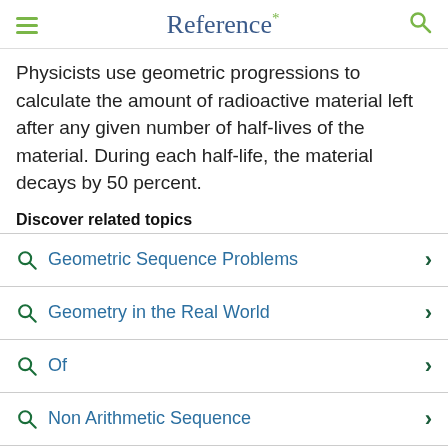Reference*
Physicists use geometric progressions to calculate the amount of radioactive material left after any given number of half-lives of the material. During each half-life, the material decays by 50 percent.
Discover related topics
Geometric Sequence Problems
Geometry in the Real World
Of
Non Arithmetic Sequence